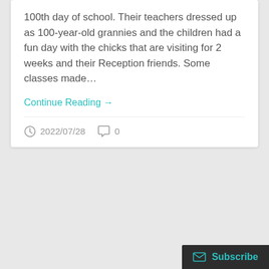100th day of school. Their teachers dressed up as 100-year-old grannies and the children had a fun day with the chicks that are visiting for 2 weeks and their Reception friends. Some classes made…
Continue Reading →
2022/07/28   0